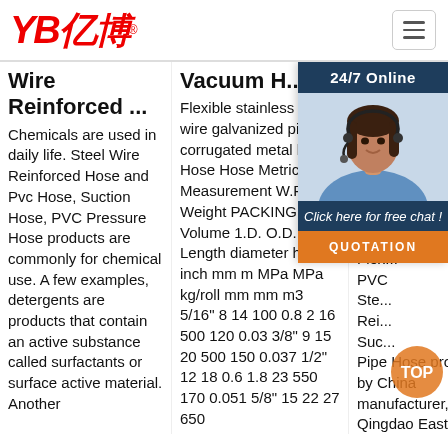[Figure (logo): YB 亿博 company logo in red italic text with registered trademark symbol]
Wire Reinforced ...
Chemicals are used in daily life. Steel Wire Reinforced Hose and Pvc Hose, Suction Hose, PVC Pressure Hose products are commonly for chemical use. A few examples, detergents are products that contain an active substance called surfactants or surface active material. Another
Vacuum H...
Flexible stainless steel wire galvanized pipe corrugated metal hose Hose Hose Metric Measurement W.P. B.P. Weight PACKING SIZE Volume 1.D. O.D. Length diameter height inch mm m MPa MPa kg/roll mm mm m3 5/16" 8 14 100 0.8 2 16 500 120 0.03 3/8" 9 15 20 500 150 0.037 1/2" 12 18 0.6 1.8 23 550 170 0.051 5/8" 15 22 27 650
Eastop Plastic...
Chi... Wir... Hos... PVC Sta... Dis... Flex... PVC Ste... Rei... Suc... Pipe Hose provided by China manufacturer, Qingdao Easton Plastic Product Co., Ltd., page1.
[Figure (photo): Customer service representative woman wearing headset, with 24/7 Online chat overlay panel, Click here for free chat text, and orange QUOTATION button]